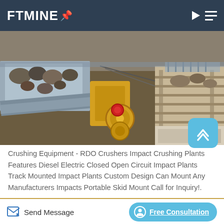FTMINE
[Figure (photo): Aerial/overhead view of mining crushing equipment including jaw crushers, conveyor belts, and rock materials in an industrial mining setting.]
Crushing Equipment - RDO Crushers Impact Crushing Plants Features Diesel Electric Closed Open Circuit Impact Plants Track Mounted Impact Plants Custom Design Can Mount Any Manufacturers Impacts Portable Skid Mount Call for Inquiry!.
Send Message
Free Consultation